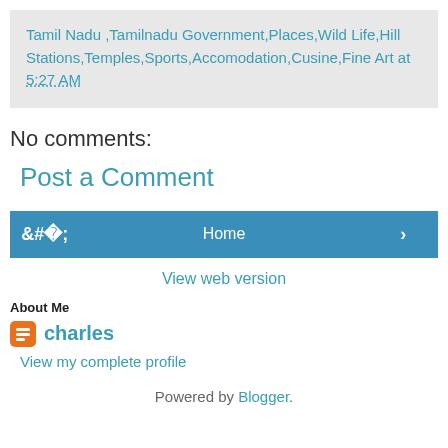Tamil Nadu ,Tamilnadu Government,Places,Wild Life,Hill Stations,Temples,Sports,Accomodation,Cusine,Fine Art at 5:27 AM
No comments:
Post a Comment
‹
Home
›
View web version
About Me
charles
View my complete profile
Powered by Blogger.